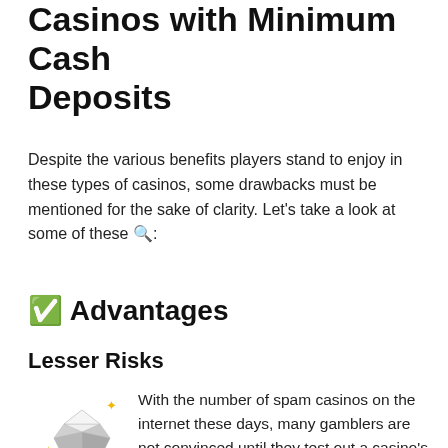Casinos with Minimum Cash Deposits
Despite the various benefits players stand to enjoy in these types of casinos, some drawbacks must be mentioned for the sake of clarity. Let's take a look at some of these 🔍:
✅ Advantages
Lesser Risks
[Figure (illustration): Diamond gem emoji with sparkles]
With the number of spam casinos on the internet these days, many gamblers are not convinced until they test out a casino's service before investing a higher pay of